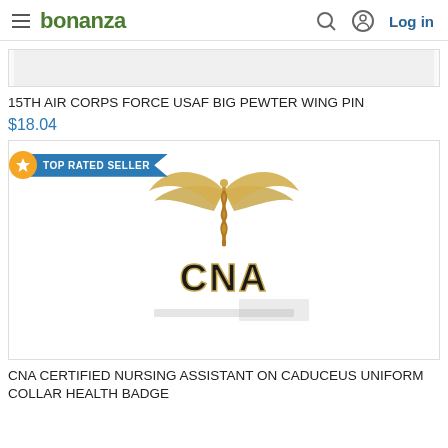bonanza | Log in
[Figure (photo): Partial view of a product image (top portion cut off) - 15TH AIR CORPS FORCE USAF BIG PEWTER WING PIN]
15TH AIR CORPS FORCE USAF BIG PEWTER WING PIN
$18.04
[Figure (photo): CNA Certified Nursing Assistant on Caduceus gold pin badge with TOP RATED SELLER banner]
CNA CERTIFIED NURSING ASSISTANT ON CADUCEUS UNIFORM COLLAR HEALTH BADGE